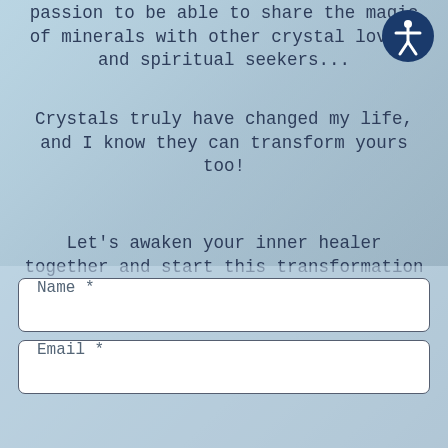passion to be able to share the magic of minerals with other crystal lovers and spiritual seekers...
Crystals truly have changed my life, and I know they can transform yours too!
Let's awaken your inner healer together and start this transformation now. Grab your crystals and let's dive right in...
[Figure (illustration): Accessibility icon — white figure with arms outstretched in a circle, on a dark blue circular background, positioned top-right]
Name *
Email *